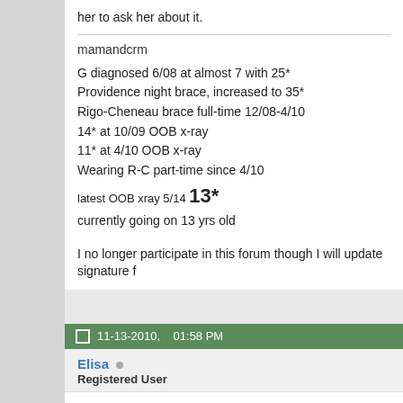her to ask her about it.
mamandcrm
G diagnosed 6/08 at almost 7 with 25*
Providence night brace, increased to 35*
Rigo-Cheneau brace full-time 12/08-4/10
14* at 10/09 OOB x-ray
11* at 4/10 OOB x-ray
Wearing R-C part-time since 4/10
latest OOB xray 5/14 13*
currently going on 13 yrs old
I no longer participate in this forum though I will update signature fr
11-13-2010,   01:58 PM
Elisa
Registered User
Thanks for the input guys.

I have done so much reading these past few days and although it's know I'm not as alone as I thought I was and am now feeling some